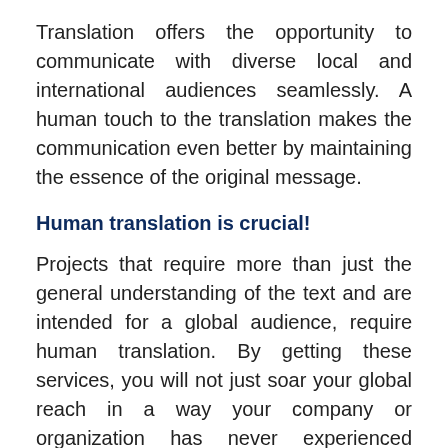Translation offers the opportunity to communicate with diverse local and international audiences seamlessly. A human touch to the translation makes the communication even better by maintaining the essence of the original message.
Human translation is crucial!
Projects that require more than just the general understanding of the text and are intended for a global audience, require human translation. By getting these services, you will not just soar your global reach in a way your company or organization has never experienced before.